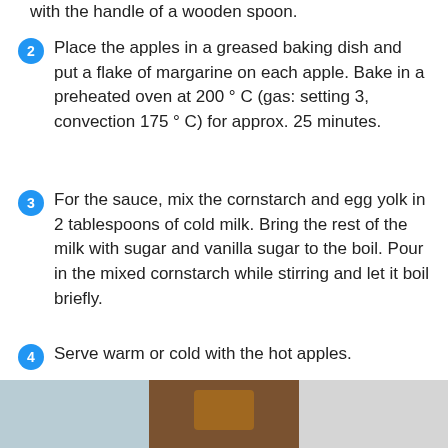with the handle of a wooden spoon.
2  Place the apples in a greased baking dish and put a flake of margarine on each apple. Bake in a preheated oven at 200 ° C (gas: setting 3, convection 175 ° C) for approx. 25 minutes.
3  For the sauce, mix the cornstarch and egg yolk in 2 tablespoons of cold milk. Bring the rest of the milk with sugar and vanilla sugar to the boil. Pour in the mixed cornstarch while stirring and let it boil briefly.
4  Serve warm or cold with the hot apples.
Also Like
[Figure (photo): Food photo strip at bottom of page showing baked apple dishes]